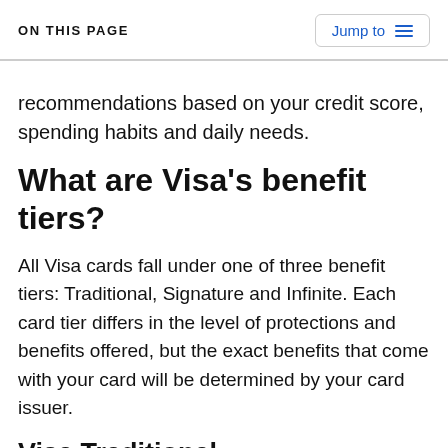ON THIS PAGE
recommendations based on your credit score, spending habits and daily needs.
What are Visa's benefit tiers?
All Visa cards fall under one of three benefit tiers: Traditional, Signature and Infinite. Each card tier differs in the level of protections and benefits offered, but the exact benefits that come with your card will be determined by your card issuer.
Visa Traditional
Visa Traditional is the base level benefits tier. If